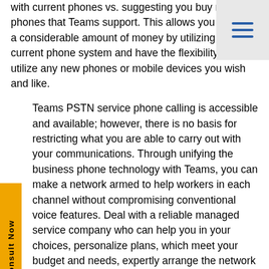with current phones vs. suggesting you buy new phones that Teams support. This allows you to save a considerable amount of money by utilizing your current phone system and have the flexibility to utilize any new phones or mobile devices you wish and like.
Teams PSTN service phone calling is accessible and available; however, there is no basis for restricting what you are able to carry out with your communications. Through unifying the business phone technology with Teams, you can make a network armed to help workers in each channel without compromising conventional voice features. Deal with a reliable managed service company who can help you in your choices, personalize plans, which meet your budget and needs, expertly arrange the network at the same time help the team after the implementation.
Microsoft Teams Make PSTN Service Phones Possible
Microsoft Teams support a collection or range of desk devices for users who need a landline or conventional phone